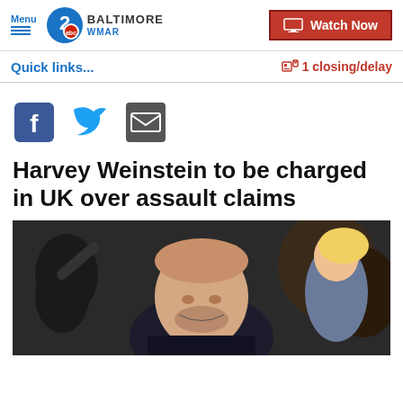Menu | 2 ABC WMAR BALTIMORE | Watch Now
Quick links...
1 closing/delay
[Figure (other): Social sharing icons: Facebook, Twitter, Email]
Harvey Weinstein to be charged in UK over assault claims
[Figure (photo): Harvey Weinstein smiling at a public event, surrounded by people]